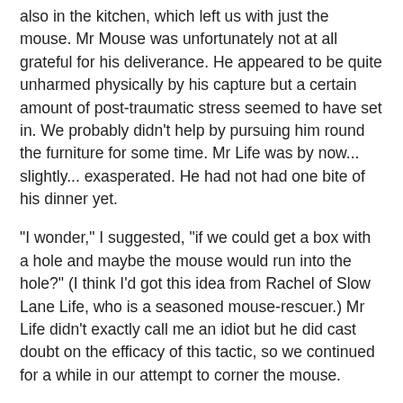also in the kitchen, which left us with just the mouse. Mr Mouse was unfortunately not at all grateful for his deliverance. He appeared to be quite unharmed physically by his capture but a certain amount of post-traumatic stress seemed to have set in. We probably didn't help by pursuing him round the furniture for some time. Mr Life was by now... slightly... exasperated. He had not had one bite of his dinner yet.
"I wonder," I suggested, "if we could get a box with a hole and maybe the mouse would run into the hole?" (I think I'd got this idea from Rachel of Slow Lane Life, who is a seasoned mouse-rescuer.) Mr Life didn't exactly call me an idiot but he did cast doubt on the efficacy of this tactic, so we continued for a while in our attempt to corner the mouse.
Then I tried the box thing. "Why would that work?" enquired Mr Life - well, I hesitate to suggest that he said this scathingly, but.... At this point, the mouse ran into the box and we put the box outside and that was that.
Till we went back into the kitchen to find Sirius on the table